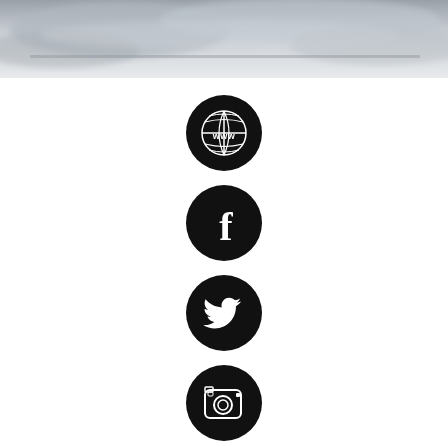[Figure (photo): Black and white photograph of clouds or sky, cropped to a horizontal strip at the top of the page.]
[Figure (infographic): Column of five black circular social media and web icons: WWW globe icon, Facebook icon, Twitter bird icon, Instagram camera icon, Goodreads 'g' icon, and a partially visible sixth icon at the bottom.]